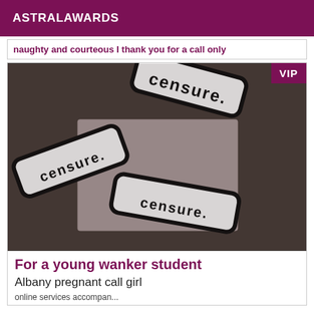ASTRALAWARDS
naughty and courteous I thank you for a call only
[Figure (photo): Censored image with rotated signs showing censored text in bold black lettering on white cards with dark/blurred background]
For a young wanker student
Albany pregnant call girl
online services accompan...